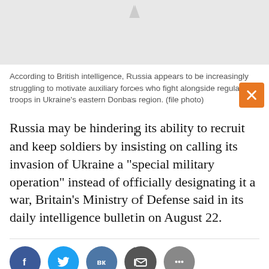[Figure (photo): Partially visible image with light gray background and small icon at top]
According to British intelligence, Russia appears to be increasingly struggling to motivate auxiliary forces who fight alongside regular troops in Ukraine's eastern Donbas region. (file photo)
Russia may be hindering its ability to recruit and keep soldiers by insisting on calling its invasion of Ukraine a "special military operation" instead of officially designating it a war, Britain's Ministry of Defense said in its daily intelligence bulletin on August 22.